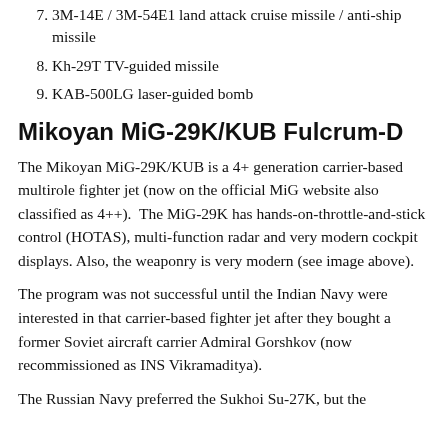3M-14E / 3M-54E1 land attack cruise missile / anti-ship missile
Kh-29T TV-guided missile
KAB-500LG laser-guided bomb
Mikoyan MiG-29K/KUB Fulcrum-D
The Mikoyan MiG-29K/KUB is a 4+ generation carrier-based multirole fighter jet (now on the official MiG website also classified as 4++).  The MiG-29K has hands-on-throttle-and-stick control (HOTAS), multi-function radar and very modern cockpit displays. Also, the weaponry is very modern (see image above).
The program was not successful until the Indian Navy were interested in that carrier-based fighter jet after they bought a former Soviet aircraft carrier Admiral Gorshkov (now recommissioned as INS Vikramaditya).
The Russian Navy preferred the Sukhoi Su-27K, but the